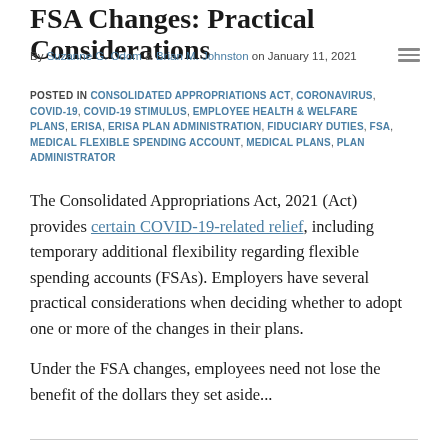FSA Changes: Practical Considerations
By Suzanne G. Odom & Brian M. Johnston on January 11, 2021
POSTED IN CONSOLIDATED APPROPRIATIONS ACT, CORONAVIRUS, COVID-19, COVID-19 STIMULUS, EMPLOYEE HEALTH & WELFARE PLANS, ERISA, ERISA PLAN ADMINISTRATION, FIDUCIARY DUTIES, FSA, MEDICAL FLEXIBLE SPENDING ACCOUNT, MEDICAL PLANS, PLAN ADMINISTRATOR
The Consolidated Appropriations Act, 2021 (Act) provides certain COVID-19-related relief, including temporary additional flexibility regarding flexible spending accounts (FSAs). Employers have several practical considerations when deciding whether to adopt one or more of the changes in their plans.
Under the FSA changes, employees need not lose the benefit of the dollars they set aside...